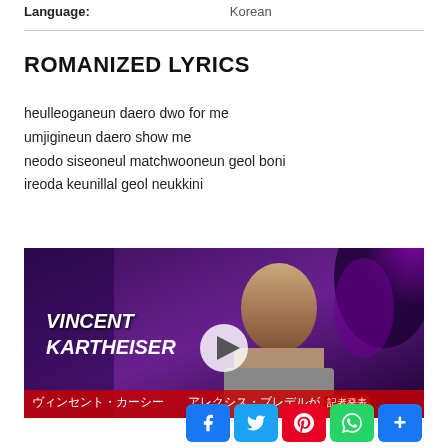Language: Korean
ROMANIZED LYRICS
heulleoganeun daero dwo for me
umjigineun daero show me
neodo siseoneul matchwooneun geol boni
ireoda keunillal geol neukkini
[Figure (screenshot): Video thumbnail showing a man in a suit with 'VINCENT KARTHEISER' text overlay on a purple background, with a play button in the center. Japanese text subtitle bar at bottom. Social sharing buttons (Facebook, Twitter, Pinterest, WhatsApp, More) at bottom right.]